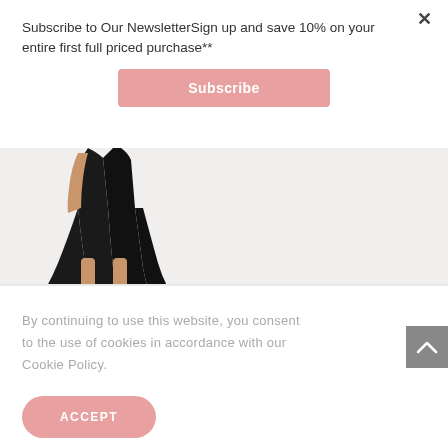Subscribe to Our NewsletterSign up and save 10% on your entire first full priced purchase**
Subscribe
[Figure (photo): Person wearing a black midi dress, visible from waist down, against light background]
By continuing to use this website, you consent to the use of cookies in accordance with our Cookie Policy.
ACCEPT